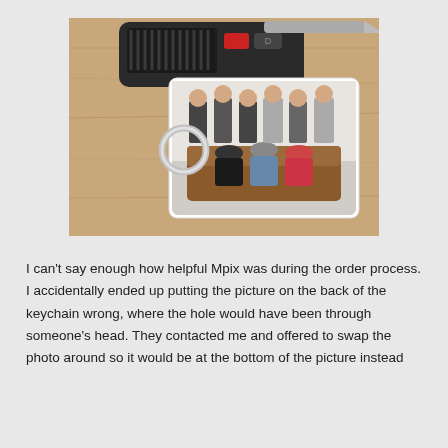[Figure (photo): A photo keychain on a wooden surface showing a group photo: six men standing in a row in the back and three women seated on a brown leather couch in front. Car keys with a black key fob are visible behind the keychain. The keychain has a silver ring attached.]
I can't say enough how helpful Mpix was during the order process. I accidentally ended up putting the picture on the back of the keychain wrong, where the hole would have been through someone's head. They contacted me and offered to swap the photo around so it would be at the bottom of the picture instead